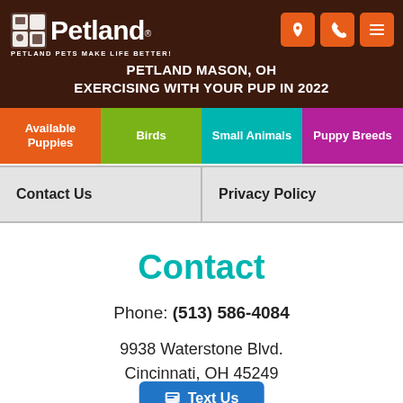Petland - PETLAND PETS MAKE LIFE BETTER!
PETLAND MASON, OH EXERCISING WITH YOUR PUP IN 2022
Available Puppies
Birds
Small Animals
Puppy Breeds
Contact Us
Privacy Policy
Contact
Phone: (513) 586-4084
9938 Waterstone Blvd. Cincinnati, OH 45249
Text Us